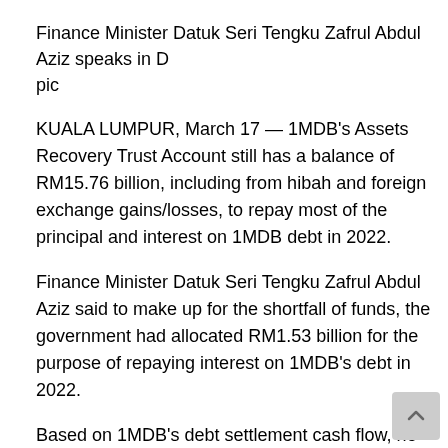Finance Minister Datuk Seri Tengku Zafrul Abdul Aziz speaks in D pic
KUALA LUMPUR, March 17 — 1MDB's Assets Recovery Trust Account still has a balance of RM15.76 billion, including from hibah and foreign exchange gains/losses, to repay most of the principal and interest on 1MDB debt in 2022.
Finance Minister Datuk Seri Tengku Zafrul Abdul Aziz said to make up for the shortfall of funds, the government had allocated RM1.53 billion for the purpose of repaying interest on 1MDB's debt in 2022.
Based on 1MDB's debt settlement cash flow, he said the expected settlement fund to be received from AmBank is RM515 million while the remaining asset recovery guarantee by Goldman Sachs is approximately US$954 million.